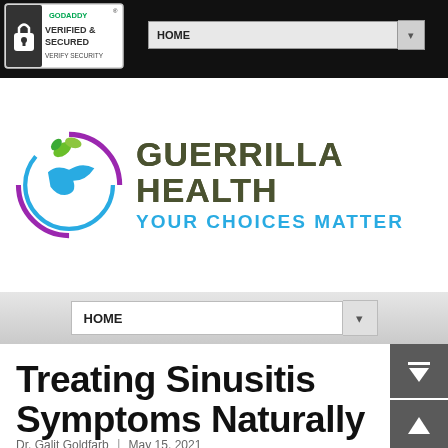[Figure (logo): GoDaddy Verified & Secured seal with lock icon and 'VERIFY SECURITY' text]
HOME ▾ (navigation dropdown, dark bar)
[Figure (logo): Guerrilla Health logo with circular icon of blue bird/figure with green leaves and purple/blue circle ring, and text 'GUERRILLA HEALTH / YOUR CHOICES MATTER' in camo and blue]
HOME ▾ (second navigation dropdown on gray bar)
Treating Sinusitis Symptoms Naturally
Dr. Galit Goldfarb | May 15, 2021